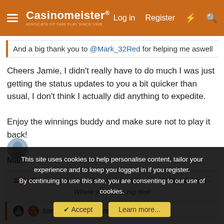Casinomeister — Log in | Register
And a big thank you to @Mark_32Red for helping me aswell
Cheers Jamie, I didn't really have to do much I was just getting the status updates to you a bit quicker than usual, I don't think I actually did anything to expedite.

Enjoy the winnings buddy and make sure not to play it back!

Mark
32Red - Proud winners of Casino of the Decade. 32Red Casino - Where you're the big deal
bamberfishcake, Jasminebed and Borgie
This site uses cookies to help personalise content, tailor your experience and to keep you logged in if you register.
By continuing to use this site, you are consenting to our use of cookies.